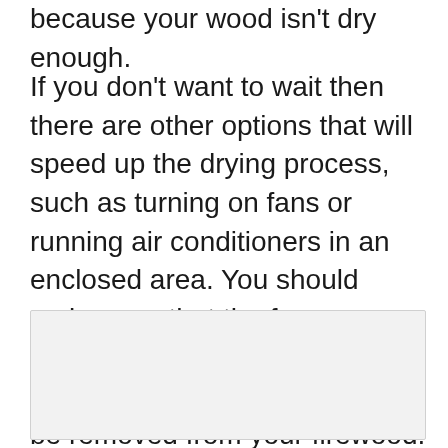because your wood isn't dry enough.
If you don't want to wait then there are other options that will speed up the drying process, such as turning on fans or running air conditioners in an enclosed area. You should make sure that the fans are blowing towards an outside wall, so all of the moisture can be removed from your firewood.
[Figure (photo): A light gray rectangular image placeholder area.]